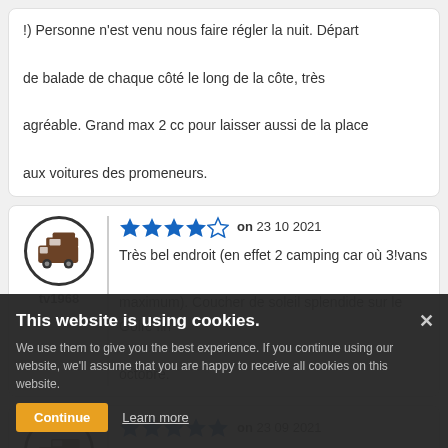!) Personne n'est venu nous faire régler la nuit. Départ de balade de chaque côté le long de la côte, très agréable. Grand max 2 cc pour laisser aussi de la place aux voitures des promeneurs.
tv1968 — 4 stars on 23 10 2021 — Très bel endroit (en effet 2 camping car où 3!vans maximum). Coucher de soleil splendide sur le Golfe fin octobre.
5 stars on 23 09 2021 — Très bel emplacement, mais de grâce, oubliez d'y loger camping cars un seul passage, car c'est un tout petit parking prévu … s'y ganeraient en
This website is using cookies. We use them to give you the best experience. If you continue using our website, we'll assume that you are happy to receive all cookies on this website. Continue | Learn more